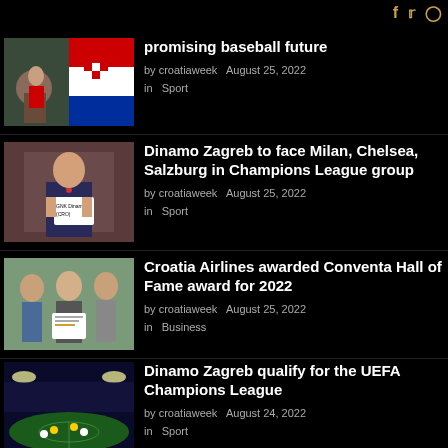f  t  O
promising baseball future
by croatiaweek   August 25, 2022
in   Sport
[Figure (photo): Sports photo collage with baseball player and Croatian flag]
Dinamo Zagreb to face Milan, Chelsea, Salzburg in Champions League group
by croatiaweek   August 25, 2022
in   Sport
[Figure (photo): Person holding GNK Dinamo draw card at Champions League ceremony]
Croatia Airlines awarded Conventa Hall of Fame award for 2022
by croatiaweek   August 25, 2022
in   Business
[Figure (photo): Three men holding award certificate at ceremony]
Dinamo Zagreb qualify for the UEFA Champions League
by croatiaweek   August 24, 2022
in   Sport
[Figure (photo): Football stadium night match scene]